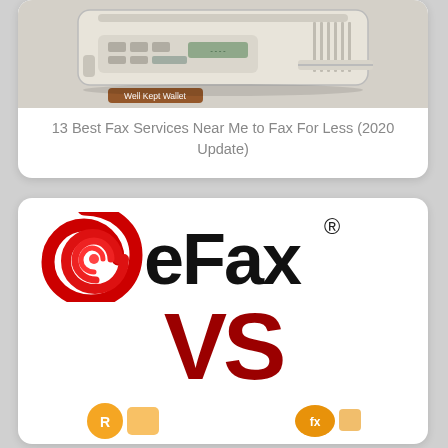[Figure (photo): Photo of a fax machine (beige/white printer device) with a 'Well Kept Wallet' watermark overlay in the lower left corner]
13 Best Fax Services Near Me to Fax For Less (2020 Update)
[Figure (logo): eFax logo with red spiral/swirl icon on the left and bold black 'eFax' text with registered trademark symbol, followed by large dark red 'VS' text below, and partial orange logos at bottom]
[Figure (logo): Partial orange logos visible at the bottom of the eFax vs card]